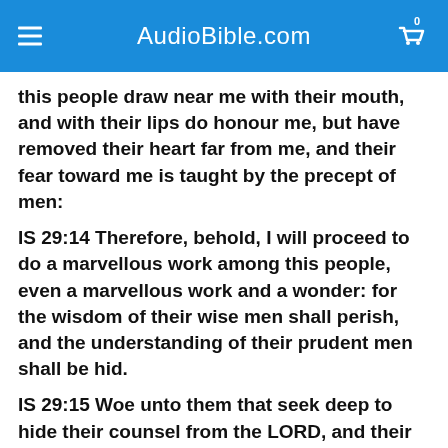AudioBible.com
this people draw near me with their mouth, and with their lips do honour me, but have removed their heart far from me, and their fear toward me is taught by the precept of men:
IS 29:14 Therefore, behold, I will proceed to do a marvellous work among this people, even a marvellous work and a wonder: for the wisdom of their wise men shall perish, and the understanding of their prudent men shall be hid.
IS 29:15 Woe unto them that seek deep to hide their counsel from the LORD, and their works are in the dark, and they say, Who seeth us? and